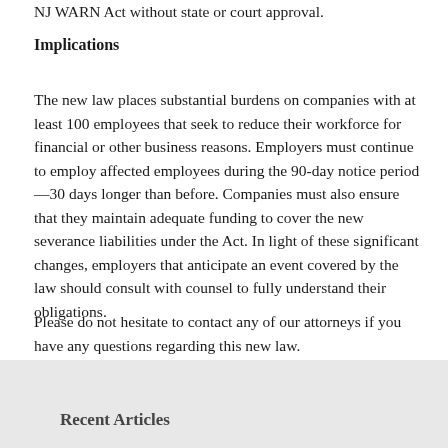NJ WARN Act without state or court approval.
Implications
The new law places substantial burdens on companies with at least 100 employees that seek to reduce their workforce for financial or other business reasons. Employers must continue to employ affected employees during the 90-day notice period—30 days longer than before. Companies must also ensure that they maintain adequate funding to cover the new severance liabilities under the Act. In light of these significant changes, employers that anticipate an event covered by the law should consult with counsel to fully understand their obligations.
Please do not hesitate to contact any of our attorneys if you have any questions regarding this new law.
Recent Articles